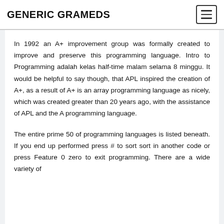GENERIC GRAMEDS
In 1992 an A+ improvement group was formally created to improve and preserve this programming language. Intro to Programming adalah kelas half-time malam selama 8 minggu. It would be helpful to say though, that APL inspired the creation of A+, as a result of A+ is an array programming language as nicely, which was created greater than 20 years ago, with the assistance of APL and the A programming language.
The entire prime 50 of programming languages is listed beneath. If you end up performed press # to sort sort in another code or press Feature 0 zero to exit programming. There are a wide variety of